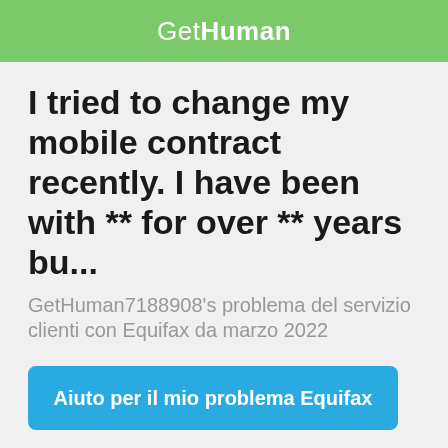GetHuman
I tried to change my mobile contract recently. I have been with ** for over ** years bu...
GetHuman7188908's problema del servizio clienti con Equifax da marzo 2022
Aiuto per il mio problema Equifax
First: share to improve GetHuman7188908's